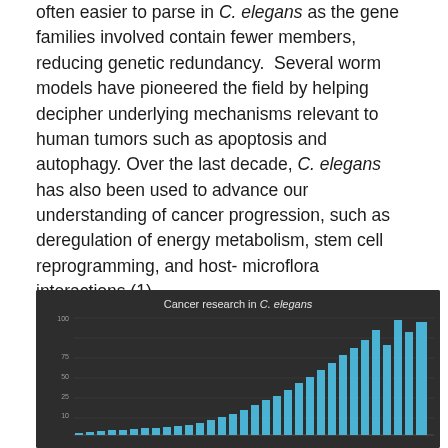often easier to parse in C. elegans as the gene families involved contain fewer members, reducing genetic redundancy.  Several worm models have pioneered the field by helping decipher underlying mechanisms relevant to human tumors such as apoptosis and autophagy. Over the last decade, C. elegans has also been used to advance our understanding of cancer progression, such as deregulation of energy metabolism, stem cell reprogramming, and host-microflora interactions (1).
[Figure (bar-chart): Bar chart showing cancer research publications in C. elegans over time. Bars are blue on a dark background, increasing in height toward the right side of the chart. Y-axis appears to show publication counts. The chart is partially cut off at the bottom of the page.]